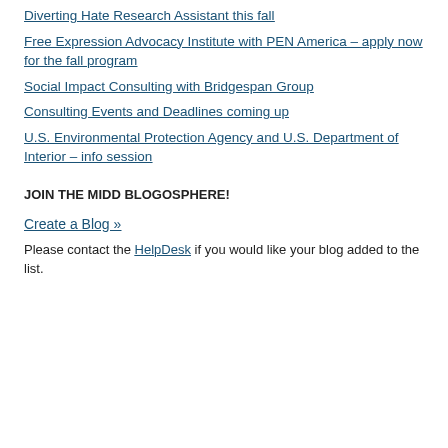Diverting Hate Research Assistant this fall
Free Expression Advocacy Institute with PEN America – apply now for the fall program
Social Impact Consulting with Bridgespan Group
Consulting Events and Deadlines coming up
U.S. Environmental Protection Agency and U.S. Department of Interior – info session
JOIN THE MIDD BLOGOSPHERE!
Create a Blog »
Please contact the HelpDesk if you would like your blog added to the list.